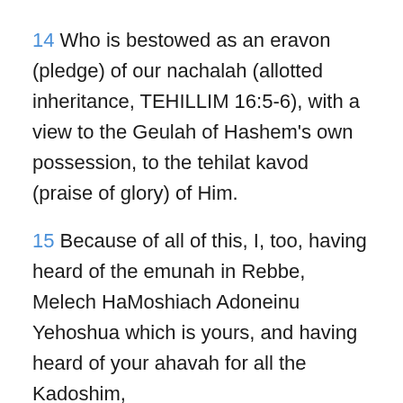14 Who is bestowed as an eravon (pledge) of our nachalah (allotted inheritance, TEHILLIM 16:5-6), with a view to the Geulah of Hashem's own possession, to the tehilat kavod (praise of glory) of Him.
15 Because of all of this, I, too, having heard of the emunah in Rebbe, Melech HaMoshiach Adoneinu Yehoshua which is yours, and having heard of your ahavah for all the Kadoshim,
16 Do not cease giving hodayah (thanksgiving) for you, while speaking of you in my tefillos;